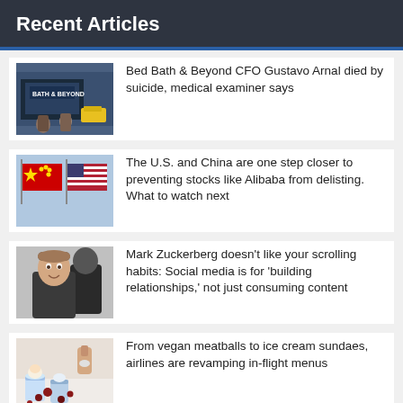Recent Articles
Bed Bath & Beyond CFO Gustavo Arnal died by suicide, medical examiner says
The U.S. and China are one step closer to preventing stocks like Alibaba from delisting. What to watch next
Mark Zuckerberg doesn't like your scrolling habits: Social media is for 'building relationships,' not just consuming content
From vegan meatballs to ice cream sundaes, airlines are revamping in-flight menus